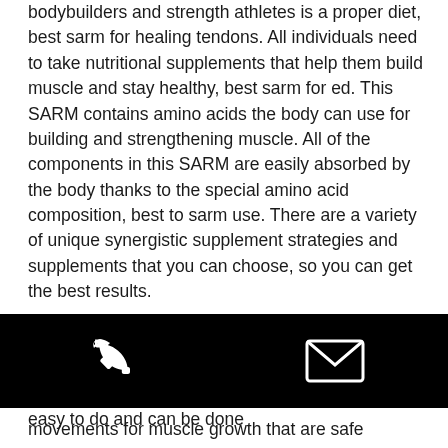bodybuilders and strength athletes is a proper diet, best sarm for healing tendons. All individuals need to take nutritional supplements that help them build muscle and stay healthy, best sarm for ed. This SARM contains amino acids the body can use for building and strengthening muscle. All of the components in this SARM are easily absorbed by the body thanks to the special amino acid composition, best to sarm use. There are a variety of unique synergistic supplement strategies and supplements that you can choose, so you can get the best results.
These 10 days of strength training will give you a great boost and help you to hit your goals, best sarm for ed. The strength training sessions are easy to do and can be done
[Figure (other): Black footer bar with a phone icon on the left and an envelope/email icon on the right, both in white on a black background.]
movements for muscle growth that are safe